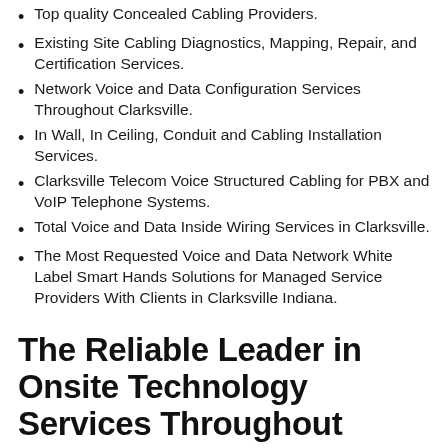Top quality Concealed Cabling Providers.
Existing Site Cabling Diagnostics, Mapping, Repair, and Certification Services.
Network Voice and Data Configuration Services Throughout Clarksville.
In Wall, In Ceiling, Conduit and Cabling Installation Services.
Clarksville Telecom Voice Structured Cabling for PBX and VoIP Telephone Systems.
Total Voice and Data Inside Wiring Services in Clarksville.
The Most Requested Voice and Data Network White Label Smart Hands Solutions for Managed Service Providers With Clients in Clarksville Indiana.
The Reliable Leader in Onsite Technology Services Throughout Clarksville Indiana.